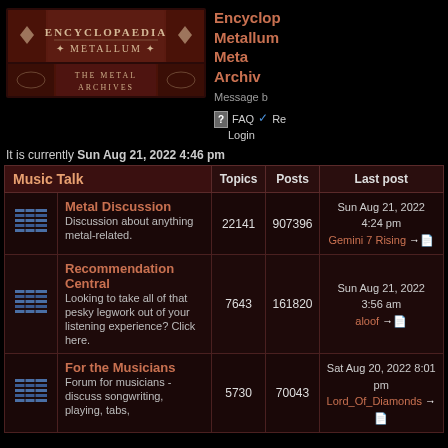[Figure (logo): Encyclopaedia Metallum: The Metal Archives banner logo with dark red ornate design]
Encyclopaedia Metallum: The Metal Archives
Message board
FAQ   Register   Login
It is currently Sun Aug 21, 2022 4:46 pm
| Music Talk | Topics | Posts | Last post |
| --- | --- | --- | --- |
| Metal Discussion
Discussion about anything metal-related. | 22141 | 907396 | Sun Aug 21, 2022 4:24 pm
Gemini 7 Rising → |
| Recommendation Central
Looking to take all of that pesky legwork out of your listening experience? Click here. | 7643 | 161820 | Sun Aug 21, 2022 3:56 am
aloof → |
| For the Musicians
Forum for musicians - discuss songwriting, playing, tabs, | 5730 | 70043 | Sat Aug 20, 2022 8:01 pm
Lord_Of_Diamonds → |